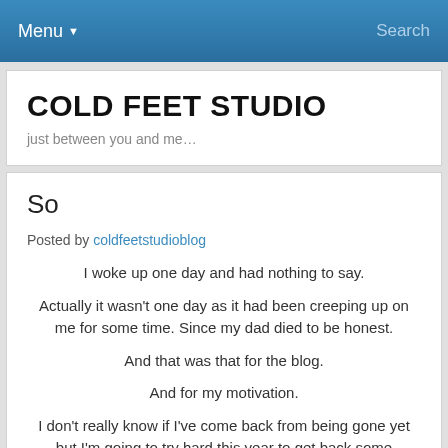Menu ▼   Search
COLD FEET STUDIO
just between you and me…
So
Posted by coldfeetstudioblog
I woke up one day and had nothing to say.
Actually it wasn't one day as it had been creeping up on me for some time. Since my dad died to be honest.
And that was that for the blog.
And for my motivation.
I don't really know if I've come back from being gone yet but I'm going to try hard this year to get back some purpose.
I've got a new house and a new grandson…